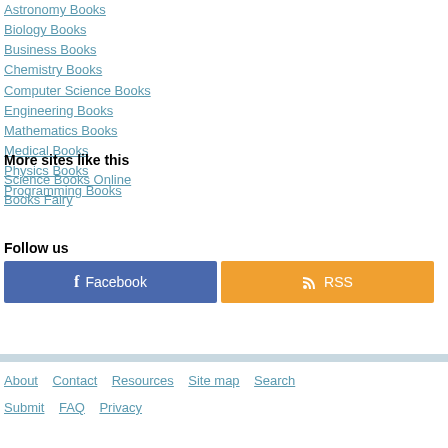Astronomy Books
Biology Books
Business Books
Chemistry Books
Computer Science Books
Engineering Books
Mathematics Books
Medical Books
Physics Books
Programming Books
More sites like this
Science Books Online
Books Fairy
Follow us
[Figure (other): Facebook and RSS social media buttons]
About   Contact   Resources   Site map   Search   Submit   FAQ   Privacy